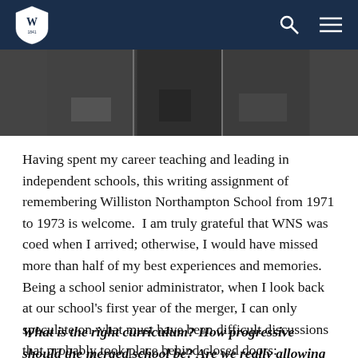Williston Northampton School — site header with logo, search, and menu icons
[Figure (photo): Partial black-and-white photograph showing architectural or memorial detail, cropped at top of content area]
Having spent my career teaching and leading in independent schools, this writing assignment of remembering Williston Northampton School from 1971 to 1973 is welcome.  I am truly grateful that WNS was coed when I arrived; otherwise, I would have missed more than half of my best experiences and memories. Being a school senior administrator, when I look back at our school’s first year of the merger, I can only speculate on what must have been difficult discussions that probably took place behind closed doors:
What is the right curriculum? How progressive should the merged school be? Are we really allowing students to “have